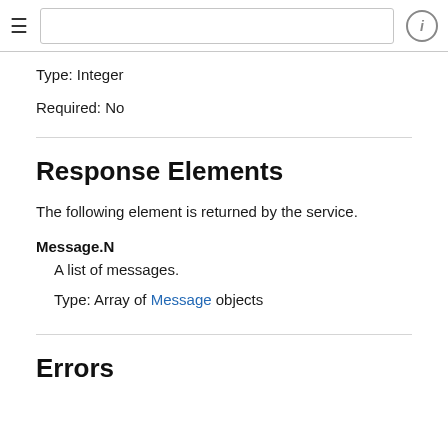≡  [search bar]  ⓘ
Type: Integer
Required: No
Response Elements
The following element is returned by the service.
Message.N
A list of messages.
Type: Array of Message objects
Errors